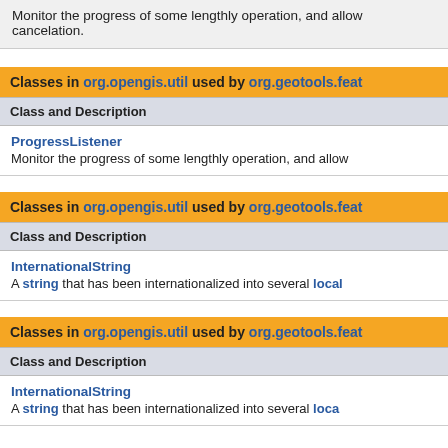Monitor the progress of some lengthly operation, and allow cancelation.
Classes in org.opengis.util used by org.geotools.feat
| Class and Description |
| --- |
| ProgressListener
Monitor the progress of some lengthly operation, and allow |
Classes in org.opengis.util used by org.geotools.feat
| Class and Description |
| --- |
| InternationalString
A string that has been internationalized into several local |
Classes in org.opengis.util used by org.geotools.feat
| Class and Description |
| --- |
| InternationalString
A string that has been internationalized into several loca |